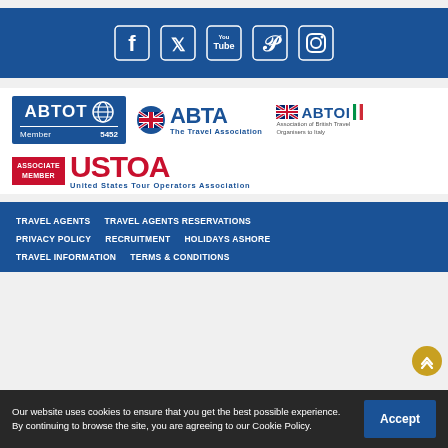[Figure (infographic): Social media icons bar with Facebook, Twitter, YouTube, Pinterest, Instagram icons on dark blue background]
[Figure (logo): ABTOT Member 5452 logo with globe icon on blue background]
[Figure (logo): ABTA The Travel Association logo with globe icon]
[Figure (logo): ABTOI Association of British Travel Organisers to Italy logo with UK and Italy flags]
[Figure (logo): USTOA Associate Member - United States Tour Operators Association logo]
TRAVEL AGENTS  TRAVEL AGENTS RESERVATIONS  PRIVACY POLICY  RECRUITMENT  HOLIDAYS ASHORE  TRAVEL INFORMATION  TERMS & CONDITIONS
Our website uses cookies to ensure that you get the best possible experience. By continuing to browse the site, you are agreeing to our Cookie Policy.